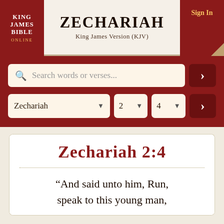KING JAMES BIBLE ONLINE — Zechariah — King James Version (KJV) — Sign In
[Figure (screenshot): Search bar with magnifying glass icon and placeholder text 'Search words or verses...' with a dark red go button showing ›]
[Figure (screenshot): Navigation dropdowns: Zechariah book selector, chapter 2 selector, verse 4 selector, and dark red go button]
Zechariah 2:4
“And said unto him, Run, speak to this young man,